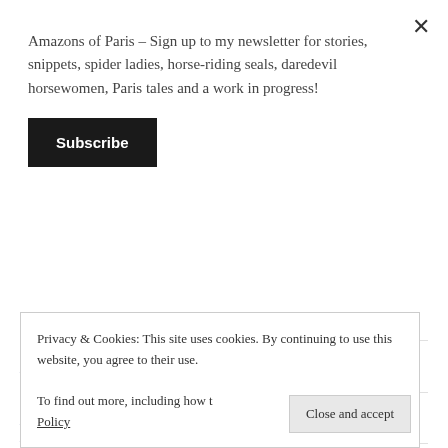Amazons of Paris – Sign up to my newsletter for stories, snippets, spider ladies, horse-riding seals, daredevil horsewomen, Paris tales and a work in progress!
Subscribe
Heavy Horses (23)
Highland Ponies (6)
Hippotherapy (4)
Privacy & Cookies: This site uses cookies. By continuing to use this website, you agree to their use. To find out more, including how to control cookies, see here: Cookie Policy
Close and accept